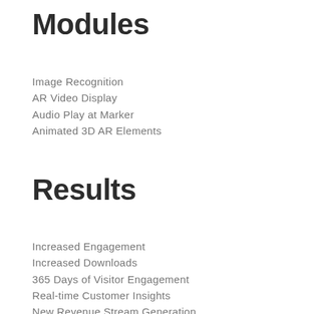Modules
Image Recognition
AR Video Display
Audio Play at Marker
Animated 3D AR Elements
Results
Increased Engagement
Increased Downloads
365 Days of Visitor Engagement
Real-time Customer Insights
New Revenue Stream Generation